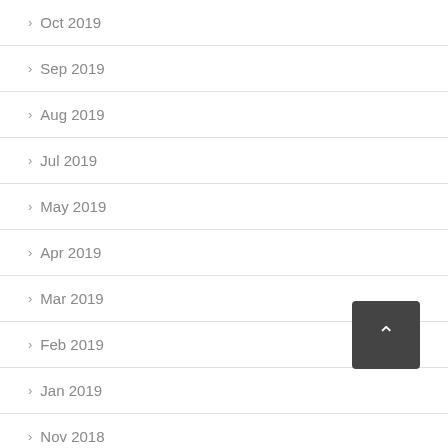Oct 2019
Sep 2019
Aug 2019
Jul 2019
May 2019
Apr 2019
Mar 2019
Feb 2019
Jan 2019
Nov 2018